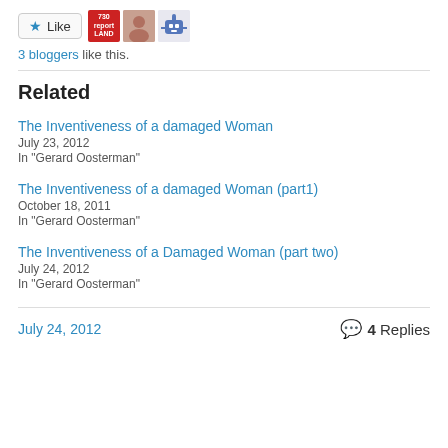[Figure (other): Like button with star icon and three blogger avatars (730 Report Land logo, a person photo, a robot icon)]
3 bloggers like this.
Related
The Inventiveness of a damaged Woman
July 23, 2012
In "Gerard Oosterman"
The Inventiveness of a damaged Woman (part1)
October 18, 2011
In "Gerard Oosterman"
The Inventiveness of a Damaged Woman (part two)
July 24, 2012
In "Gerard Oosterman"
July 24, 2012    4 Replies